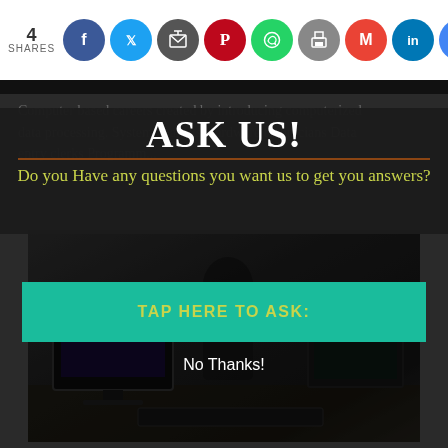4 SHARES
[Figure (infographic): Social media share buttons: Facebook, Twitter, Share, Pinterest, WhatsApp, Print, Gmail, LinkedIn, Google]
Computer based careers created by introducing computerized data processing. System analysts Hardware technicians Data entry clerks Programm...
ASK US!
Do you Have any questions you want us to get you answers?
[Figure (photo): Dark blurred photo of a person working at a computer desk with monitors]
TAP HERE TO ASK:
No Thanks!